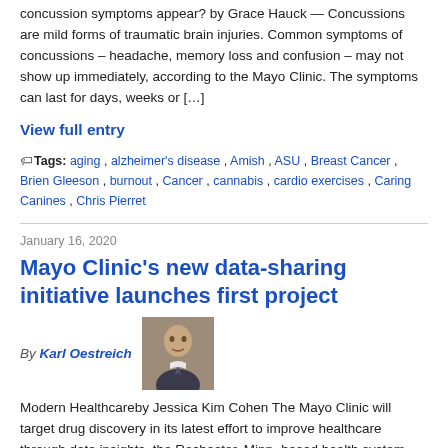concussion symptoms appear? by Grace Hauck — Concussions are mild forms of traumatic brain injuries. Common symptoms of concussions – headache, memory loss and confusion – may not show up immediately, according to the Mayo Clinic. The symptoms can last for days, weeks or […]
View full entry
Tags: aging, alzheimer's disease, Amish, ASU, Breast Cancer, Brien Gleeson, burnout, Cancer, cannabis, cardio exercises, Caring Canines, Chris Pierret
January 16, 2020
Mayo Clinic's new data-sharing initiative launches first project
By Karl Oestreich
[Figure (photo): Headshot photo of Karl Oestreich, a man in a suit]
Modern Healthcareby Jessica Kim Cohen The Mayo Clinic will target drug discovery in its latest effort to improve healthcare through data insights, the Rochester, Minn.-based health system said Tuesday. The clinical data analytics platform, Mayo Clinic